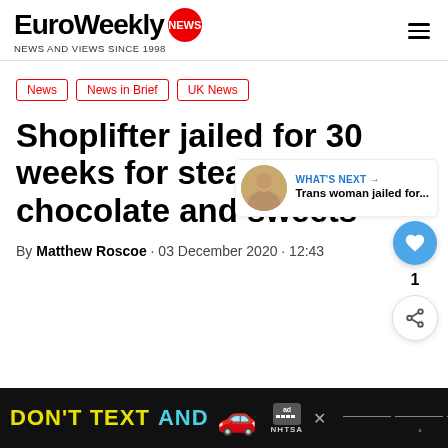EuroWeekly NEWS — NEWS AND VIEWS SINCE 1998
News
News in Brief
UK News
Shoplifter jailed for 30 weeks for stealing chocolate and sweets
By Matthew Roscoe · 03 December 2020 · 12:43
WHAT'S NEXT → Trans woman jailed for...
[Figure (infographic): Advertisement banner: DON'T TEXT AND [car emoji] with NHTSA logo on black background]